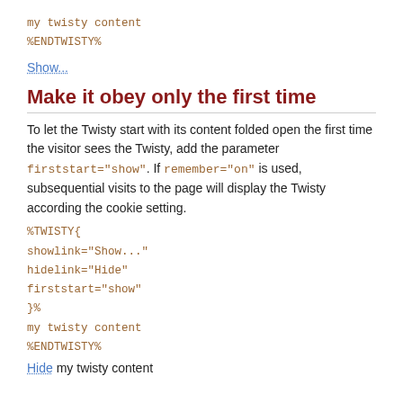my twisty content
%ENDTWISTY%
Show...
Make it obey only the first time
To let the Twisty start with its content folded open the first time the visitor sees the Twisty, add the parameter firststart="show". If remember="on" is used, subsequential visits to the page will display the Twisty according the cookie setting.
%TWISTY{
showlink="Show..."
hidelink="Hide"
firststart="show"
}%
my twisty content
%ENDTWISTY%
Hide my twisty content